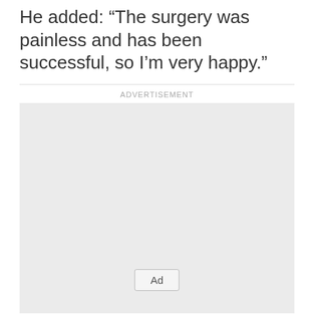He added: "The surgery was painless and has been successful, so I'm very happy."
[Figure (other): Advertisement placeholder box with 'Ad' button label]